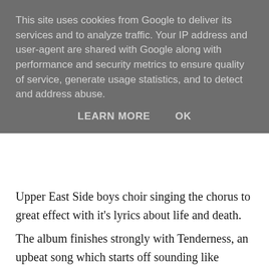This site uses cookies from Google to deliver its services and to analyze traffic. Your IP address and user-agent are shared with Google along with performance and security metrics to ensure quality of service, generate usage statistics, and to detect and address abuse.
LEARN MORE   OK
Upper East Side boys choir singing the chorus to great effect with it's lyrics about life and death.
The album finishes strongly with Tenderness, an upbeat song which starts off sounding like George Michael recording with Warren Zevon, a summery funky upbeat number about spreading some tenderness around to everyone leaving you feeling happy in yourself.
I've followed Parquet Courts since their amazing debut album. I can honestly say I thought they'd never match the likes of Light Up Gold but this is genuinely their best album to date, ambitious,